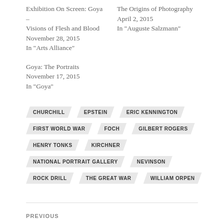Exhibition On Screen: Goya – Visions of Flesh and Blood
November 28, 2015
In "Arts Alliance"
The Origins of Photography
April 2, 2015
In "Auguste Salzmann"
Goya: The Portraits
November 17, 2015
In "Goya"
CHURCHILL
EPSTEIN
ERIC KENNINGTON
FIRST WORLD WAR
FOCH
GILBERT ROGERS
HENRY TONKS
KIRCHNER
NATIONAL PORTRAIT GALLERY
NEVINSON
ROCK DRILL
THE GREAT WAR
WILLIAM ORPEN
PREVIOUS